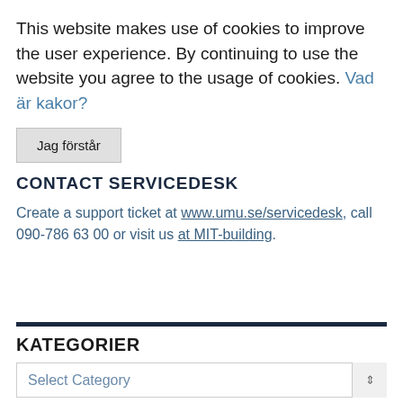This website makes use of cookies to improve the user experience. By continuing to use the website you agree to the usage of cookies. Vad är kakor?
Jag förstår
CONTACT SERVICEDESK
Create a support ticket at www.umu.se/servicedesk, call 090-786 63 00 or visit us at MIT-building.
KATEGORIER
Select Category